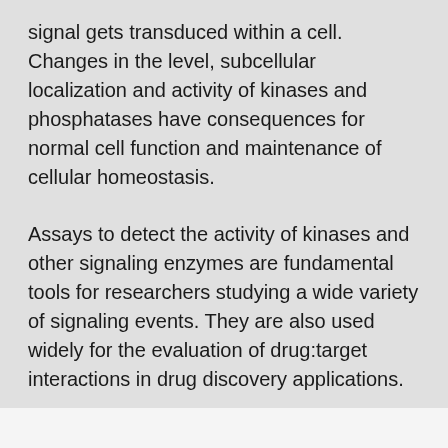signal gets transduced within a cell. Changes in the level, subcellular localization and activity of kinases and phosphatases have consequences for normal cell function and maintenance of cellular homeostasis.
Assays to detect the activity of kinases and other signaling enzymes are fundamental tools for researchers studying a wide variety of signaling events. They are also used widely for the evaluation of drug:target interactions in drug discovery applications.